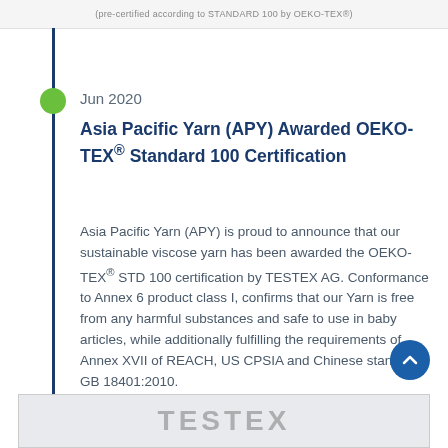(pre-certified according to STANDARD 100 by OEKO-TEX®)
Jun 2020
Asia Pacific Yarn (APY) Awarded OEKO-TEX® Standard 100 Certification
Asia Pacific Yarn (APY) is proud to announce that our sustainable viscose yarn has been awarded the OEKO-TEX® STD 100 certification by TESTEX AG. Conformance to Annex 6 product class I, confirms that our Yarn is free from any harmful substances and safe to use in baby articles, while additionally fulfilling the requirements of Annex XVII of REACH, US CPSIA and Chinese standard GB 18401:2010.